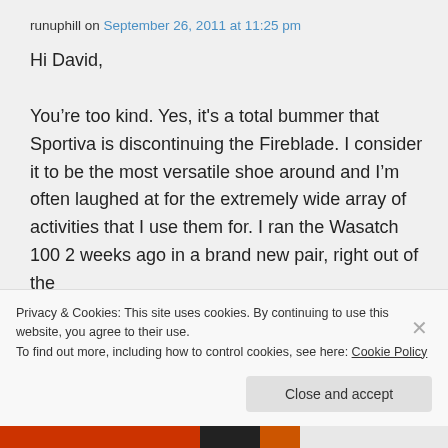runuphill on September 26, 2011 at 11:25 pm
Hi David,

You’re too kind. Yes, it's a total bummer that Sportiva is discontinuing the Fireblade. I consider it to be the most versatile shoe around and I’m often laughed at for the extremely wide array of activities that I use them for. I ran the Wasatch 100 2 weeks ago in a brand new pair, right out of the
Privacy & Cookies: This site uses cookies. By continuing to use this website, you agree to their use.
To find out more, including how to control cookies, see here: Cookie Policy